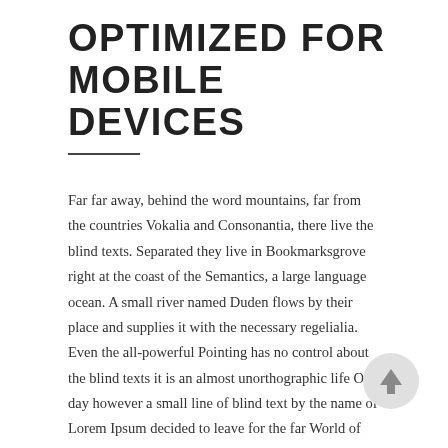OPTIMIZED FOR MOBILE DEVICES
Far far away, behind the word mountains, far from the countries Vokalia and Consonantia, there live the blind texts. Separated they live in Bookmarksgrove right at the coast of the Semantics, a large language ocean. A small river named Duden flows by their place and supplies it with the necessary regelialia. Even the all-powerful Pointing has no control about the blind texts it is an almost unorthographic life One day however a small line of blind text by the name of Lorem Ipsum decided to leave for the far World of Grammar.
[Figure (illustration): A circular back-to-top button with an upward arrow, light gray background with dark arrow icon, positioned bottom-right]